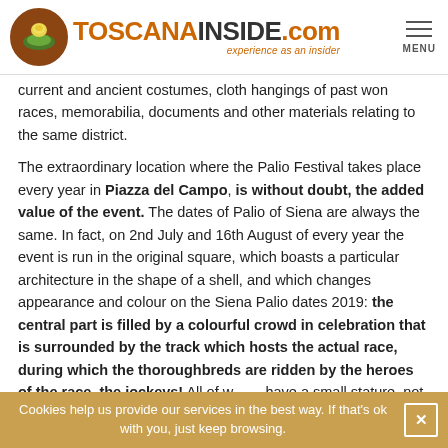TOSCANAINSIDE.com — experience as an insider
current and ancient costumes, cloth hangings of past won races, memorabilia, documents and other materials relating to the same district.
The extraordinary location where the Palio Festival takes place every year in Piazza del Campo, is without doubt, the added value of the event. The dates of Palio of Siena are always the same. In fact, on 2nd July and 16th August of every year the event is run in the original square, which boasts a particular architecture in the shape of a shell, and which changes appearance and colour on the Siena Palio dates 2019: the central part is filled by a colourful crowd in celebration that is surrounded by the track which hosts the actual race, during which the thoroughbreds are ridden by the heroes of the race, the jockeys! All of w... have a small stature, not too heavy and are often appealed original and funny nicknames. Thanks to their gaudy costum... characterize the membership to the various districts, the Palio di Siena takes on an even more lively and festive appearance
Cookies help us provide our services in the best way. If that's ok with you, just keep browsing.